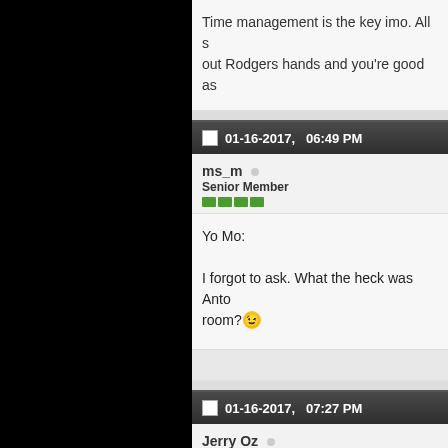Time management is the key imo. All s... out Rodgers hands and you're good as...
01-16-2017,   06:49 PM
ms_m  Senior Member
Yo Mo:

I forgot to ask. What the heck was Anto... room?
01-16-2017,   07:27 PM
Jerry Oz  Senior Member